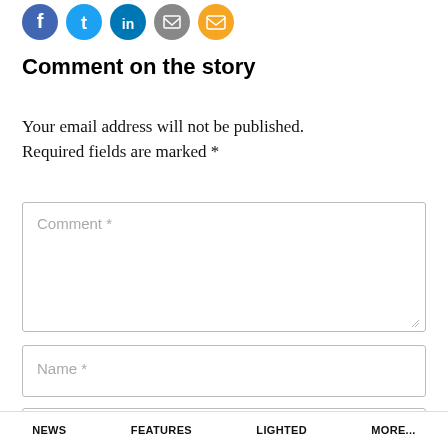[Figure (illustration): Five social share icon circles: Facebook (blue), Twitter (blue), LinkedIn (blue), print/grey, email (yellow)]
Comment on the story
Your email address will not be published. Required fields are marked *
Comment * (text area input field)
Name * (text input field)
Email * (text input field)
NEWS   FEATURES   LIGHTED   MORE...